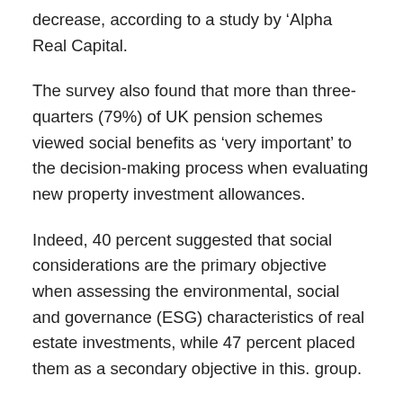decrease, according to a study by ‘Alpha Real Capital.
The survey also found that more than three-quarters (79%) of UK pension schemes viewed social benefits as ‘very important’ to the decision-making process when evaluating new property investment allowances.
Indeed, 40 percent suggested that social considerations are the primary objective when assessing the environmental, social and governance (ESG) characteristics of real estate investments, while 47 percent placed them as a secondary objective in this. group.
The pandemic was highlighted as a key factor in